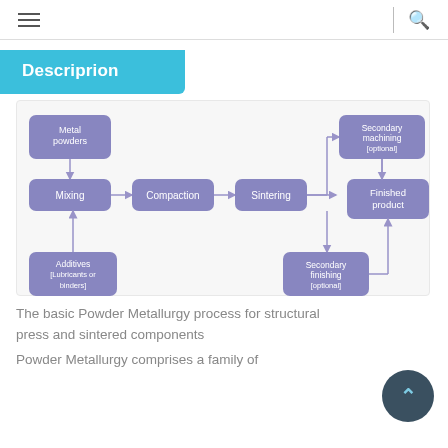Navigation bar with hamburger menu and search icon
Descriprion
[Figure (flowchart): Powder Metallurgy process flowchart showing: Metal powders → Mixing → Compaction → Sintering → Secondary machining (optional) → Finished product; Secondary finishing (optional) → Finished product; Additives (Lubricants or binders) → Mixing]
The basic Powder Metallurgy process for structural press and sintered components
Powder Metallurgy comprises a family of